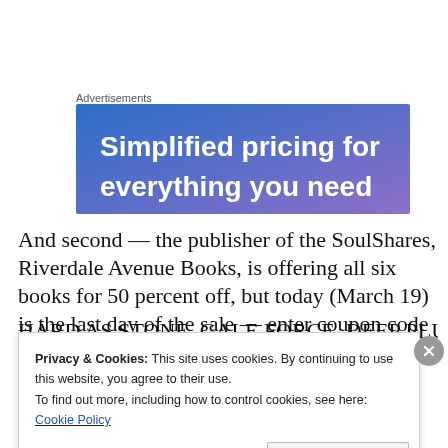Advertisements
[Figure (illustration): Advertisement banner with blue-purple gradient background and white text reading 'Simplified pricing for everything you need' (partially cropped)]
And second — the publisher of the SoulShares, Riverdale Avenue Books, is offering all six books for 50 percent off, but today (March 19) is the last day of the sale — enter coupon code STPATS50 at checkout to get 50 percent off
HARD AS STONE, GALE FORCE, DEEP PLUNGE (partially visible, cut off)
Privacy & Cookies: This site uses cookies. By continuing to use this website, you agree to their use.
To find out more, including how to control cookies, see here: Cookie Policy
Close and accept